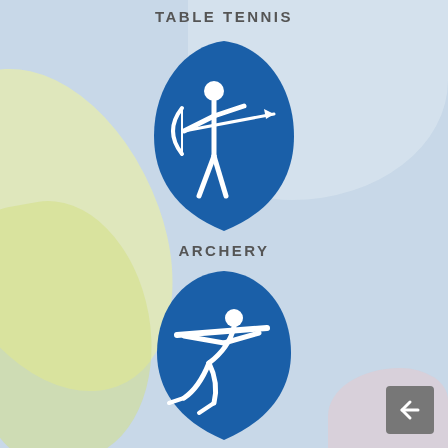TABLE TENNIS
[Figure (illustration): Blue teardrop/shield-shaped Olympic sport icon for Archery showing a stick figure drawing a bow and arrow]
ARCHERY
[Figure (illustration): Blue teardrop/shield-shaped Olympic sport icon for Shooting showing a figure in shooting stance with rifle]
SHOOTING
[Figure (illustration): Blue teardrop/shield-shaped Olympic sport icon partially visible at bottom of page, showing a running figure]